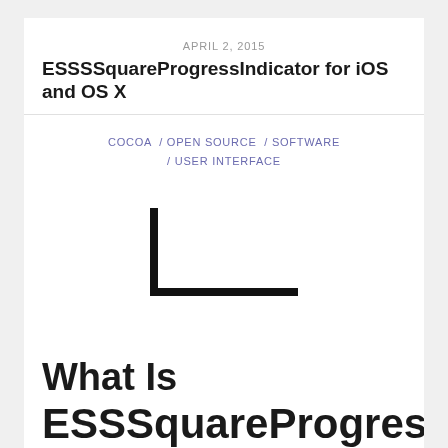APRIL 2, 2015
ESSSSquareProgressIndicator for iOS and OS X
COCOA / OPEN SOURCE / SOFTWARE / USER INTERFACE
[Figure (illustration): Partial square bracket or progress indicator corner shape rendered in thick black lines, showing an L-shape (bottom-left corner of a square)]
What Is ESSSquareProgressIndic